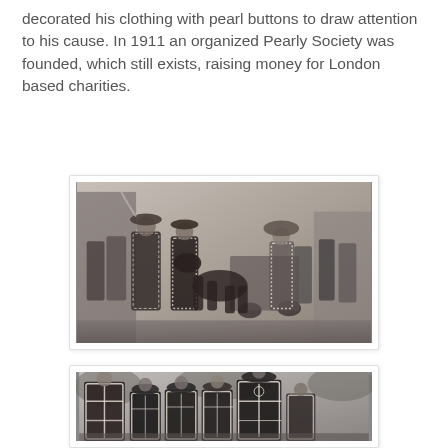decorated his clothing with pearl buttons to draw attention to his cause. In 1911 an organized Pearly Society was founded, which still exists, raising money for London based charities.
[Figure (photo): Black and white historical photograph of people dressed in pearly king and queen costumes parading down a street, with a horse-drawn cart visible in the background.]
[Figure (photo): Black and white historical photograph of children dressed in elaborate pearly costumes decorated with pearl buttons arranged in ornate patterns, standing together for a group photo.]